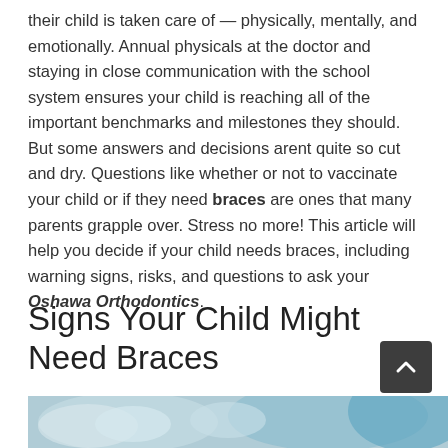their child is taken care of — physically, mentally, and emotionally. Annual physicals at the doctor and staying in close communication with the school system ensures your child is reaching all of the important benchmarks and milestones they should. But some answers and decisions arent quite so cut and dry. Questions like whether or not to vaccinate your child or if they need braces are ones that many parents grapple over. Stress no more! This article will help you decide if your child needs braces, including warning signs, risks, and questions to ask your Oshawa Orthodontics.
Signs Your Child Might Need Braces
[Figure (photo): Close-up photo of a child's eyes with blue irises, with a blurred colorful background]